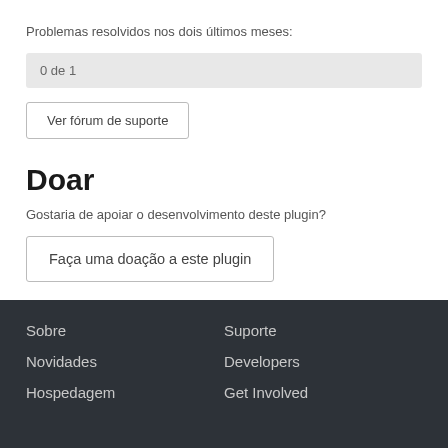Problemas resolvidos nos dois últimos meses:
0 de 1
Ver fórum de suporte
Doar
Gostaria de apoiar o desenvolvimento deste plugin?
Faça uma doação a este plugin
Sobre
Suporte
Novidades
Developers
Hospedagem
Get Involved